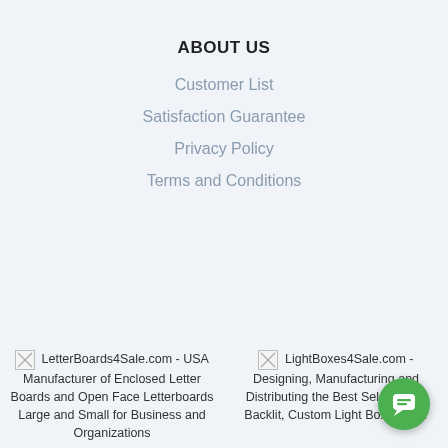ABOUT US
Customer List
Satisfaction Guarantee
Privacy Policy
Terms and Conditions
[Figure (other): Broken image placeholder for LetterBoards4Sale.com - USA Manufacturer of Enclosed Letter Boards and Open Face Letterboards Large and Small for Business and Organizations]
LetterBoards4Sale.com - USA Manufacturer of Enclosed Letter Boards and Open Face Letterboards Large and Small for Business and Organizations
[Figure (other): Broken image placeholder for LightBoxes4Sale.com - Designing, Manufacturing and Distributing the Best Selection of Backlit, Custom Light Box Displays]
LightBoxes4Sale.com - Designing, Manufacturing and Distributing the Best Selection of Backlit, Custom Light Box Displays